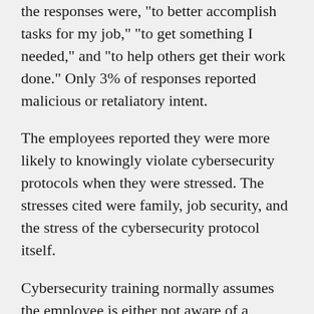the responses were, "to better accomplish tasks for my job," "to get something I needed," and "to help others get their work done." Only 3% of responses reported malicious or retaliatory intent.
The employees reported they were more likely to knowingly violate cybersecurity protocols when they were stressed. The stresses cited were family, job security, and the stress of the cybersecurity protocol itself.
Cybersecurity training normally assumes the employee is either not aware of a protocol or is not following the protocol because of malicious intent. The study shows there is in fact a middle ground between these assumptions. Employees are more likely to understand the protocol, but purposefully do not follow it for productivity reasons or to